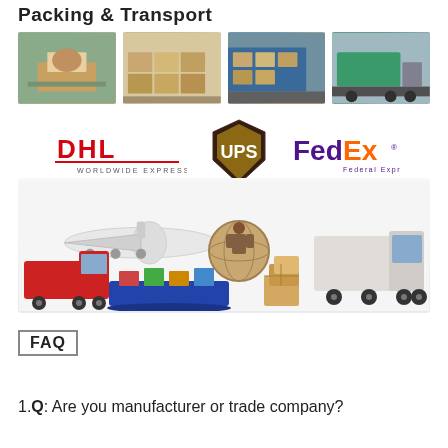Packing & Transport
[Figure (photo): Four photos showing packing and shipping warehouse operations and shipping containers/trucks]
[Figure (logo): DHL Worldwide Express, UPS, and FedEx Federal Express logos]
[Figure (illustration): Transport illustration showing airplane, ship, trucks, globe, and shipping boxes representing global logistics]
FAQ
1.Q: Are you manufacturer or trade company?